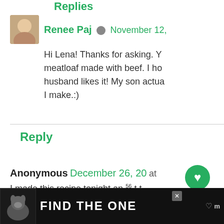Replies
Renee Paj  November 12,
Hi Lena! Thanks for asking. Y... meatloaf made with beef. I ho... husband likes it! My son actua... I make.:)
Reply
Anonymous December 26, 20... at...
I made this recipe tonight an... t t... cooking notes, I baked it in a ...ng... the juices to a small sauce pan, add...
[Figure (screenshot): Ad banner: Find The One - pet adoption advertisement with dog image]